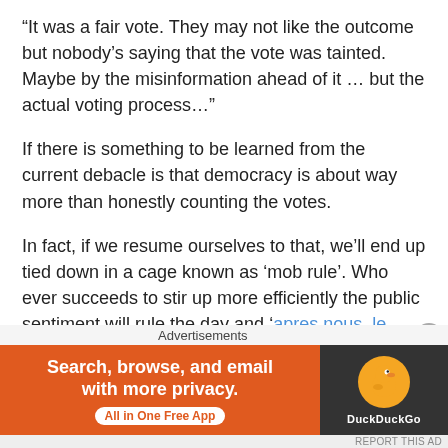“It was a fair vote. They may not like the outcome but nobody’s saying that the vote was tainted. Maybe by the misinformation ahead of it … but the actual voting process…”
If there is something to be learned from the current debacle is that democracy is about way more than honestly counting the votes.
In fact, if we resume ourselves to that, we’ll end up tied down in a cage known as ‘mob rule’. Who ever succeeds to stir up more efficiently the public sentiment will rule the day and ‘apres nous, le deluge’.
In order for the democratic process to be efficient
Advertisements
[Figure (other): DuckDuckGo advertisement banner: orange left panel with text 'Search, browse, and email with more privacy. All in One Free App' and dark right panel with DuckDuckGo duck logo and brand name.]